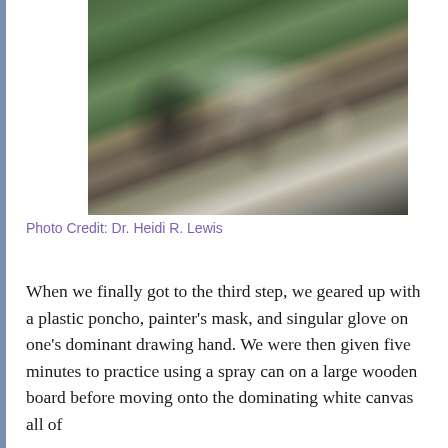[Figure (photo): Outdoor art activity scene with people wearing plastic ponchos, working near a large white canvas in a garden or backyard setting with trees and chairs visible]
Photo Credit: Dr. Heidi R. Lewis
When we finally got to the third step, we geared up with a plastic poncho, painter's mask, and singular glove on one's dominant drawing hand. We were then given five minutes to practice using a spray can on a large wooden board before moving onto the dominating white canvas all of